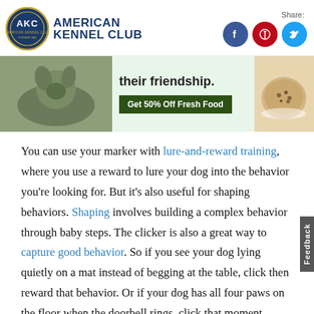American Kennel Club
[Figure (photo): Advertisement banner with dog food promotion: 'their friendship. Get 50% Off Fresh Food' with dog photo on left and food bowl on right]
You can use your marker with lure-and-reward training, where you use a reward to lure your dog into the behavior you're looking for. But it's also useful for shaping behaviors. Shaping involves building a complex behavior through baby steps. The clicker is also a great way to capture good behavior. So if you see your dog lying quietly on a mat instead of begging at the table, click then reward that behavior. Or if your dog has all four paws on the floor when the doorbell rings, click that moment before your dog has a